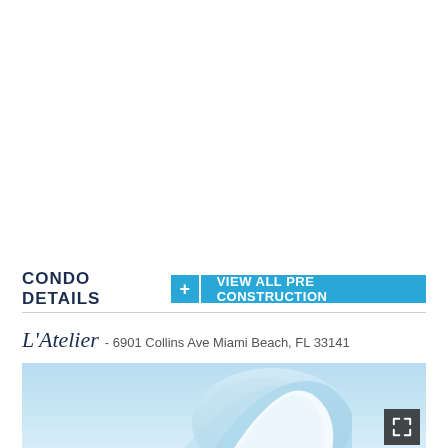CONDO DETAILS
L'Atelier - 6901 Collins Ave Miami Beach, FL 33141
[Figure (photo): Exterior or architectural photo of L'Atelier condo building with blue sky background]